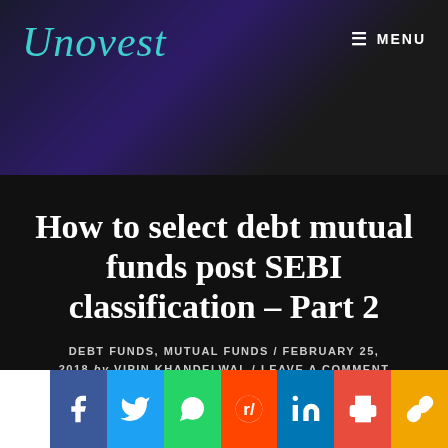Unovest
How to select debt mutual funds post SEBI classification – Part 2
DEBT FUNDS, MUTUAL FUNDS / FEBRUARY 25, 2018 by VIPIN KHANDELWAL / LEAVE A COMMENT
[Figure (other): Social sharing bar with Facebook, Twitter, WhatsApp, Reddit, LinkedIn, Print, and Copy Link buttons]